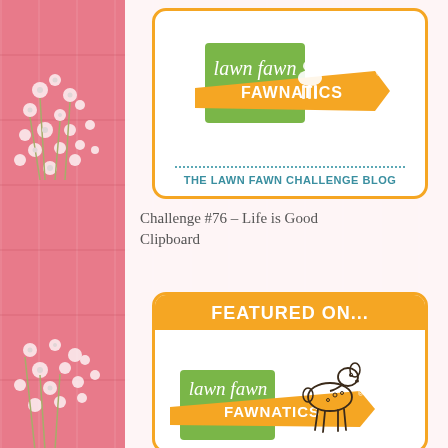[Figure (logo): Lawn Fawnatics logo badge - top card showing Lawn Fawn brand logo with dotted line and 'THE LAWN FAWN CHALLENGE BLOG' text]
Challenge #76 – Life is Good Clipboard
[Figure (logo): Featured On... badge card with orange banner header, deer illustration, and Lawn Fawnatics logo]